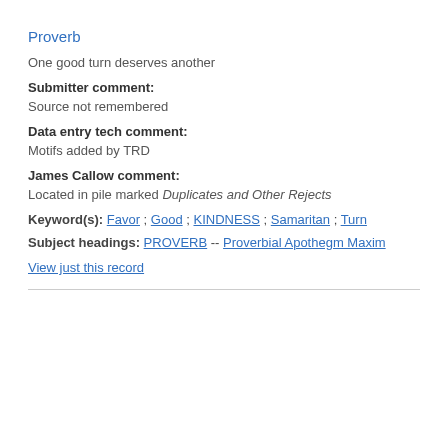Proverb
One good turn deserves another
Submitter comment:
Source not remembered
Data entry tech comment:
Motifs added by TRD
James Callow comment:
Located in pile marked Duplicates and Other Rejects
Keyword(s): Favor ; Good ; KINDNESS ; Samaritan ; Turn
Subject headings: PROVERB -- Proverbial Apothegm Maxim
View just this record